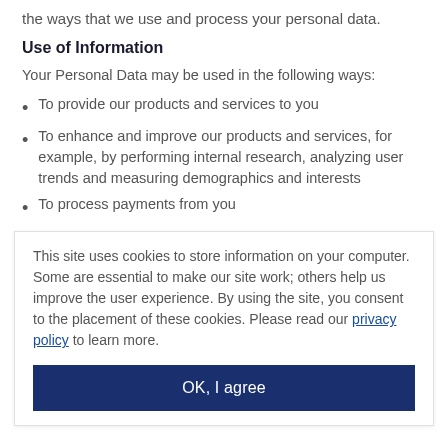the ways that we use and process your personal data.
Use of Information
Your Personal Data may be used in the following ways:
To provide our products and services to you
To enhance and improve our products and services, for example, by performing internal research, analyzing user trends and measuring demographics and interests
To process payments from you
This site uses cookies to store information on your computer. Some are essential to make our site work; others help us improve the user experience. By using the site, you consent to the placement of these cookies. Please read our privacy policy to learn more.
OK, I agree